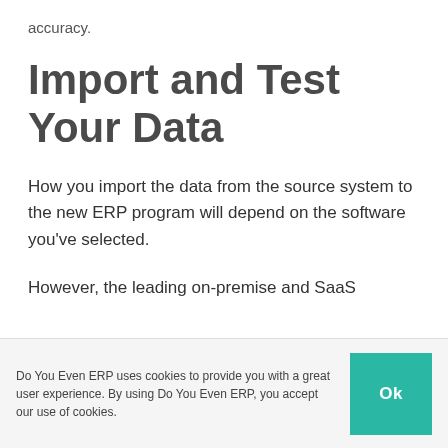accuracy.
Import and Test Your Data
How you import the data from the source system to the new ERP program will depend on the software you've selected.
However, the leading on-premise and SaaS
Do You Even ERP uses cookies to provide you with a great user experience. By using Do You Even ERP, you accept our use of cookies.